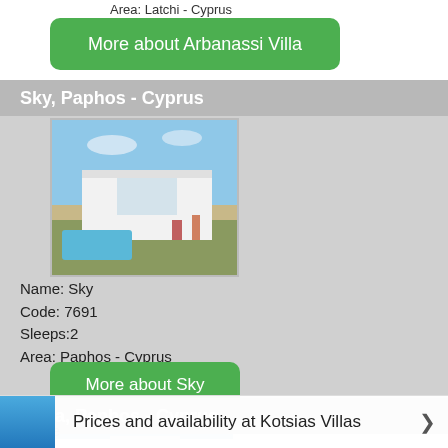Area: Latchi - Cyprus
More about Arbanassi Villa
Sky, Paphos - Cyprus
[Figure (photo): Modern white villa with pool, blue sky background, Paphos Cyprus]
Name: Sky
Code: 7691
Sleeps:2
Area: Paphos - Cyprus
More about Sky
Aqua, Paphos - Cyprus
[Figure (photo): Modern white villa exterior, Paphos Cyprus]
Name
Prices and availability at Kotsias Villas